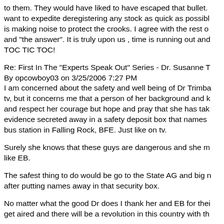to them. They would have liked to have escaped that bullet. want to expedite deregistering any stock as quick as possible is making noise to protect the crooks. I agree with the rest of and "the answer". It is truly upon us , time is running out and TOC TIC TOC!
Re: First In The "Experts Speak Out" Series - Dr. Susanne T
By opcowboy03 on 3/25/2006 7:27 PM
I am concerned about the safety and well being of Dr Trimba tv, but it concerns me that a person of her background and k and respect her courage but hope and pray that she has tak evidence secreted away in a safety deposit box that names bus station in Falling Rock, BFE. Just like on tv.
Surely she knows that these guys are dangerous and she m like EB.
The safest thing to do would be go to the State AG and big n after putting names away in that security box.
No matter what the good Dr does I thank her and EB for thei get aired and there will be a revolution in this country with th
op